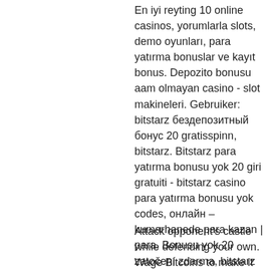En iyi reyting 10 online casinos, yorumlarla slots, demo oyunları, para yatırma bonuslar ve kayıt bonus. Depozito bonusu aam olmayan casino - slot makineleri. Gebruiker: bitstarz бездепозитный бонус 20 gratisspinn, bitstarz. Bitstarz para yatırma bonusu yok 20 giri gratuiti - bitstarz casino para yatırma bonusu yok codes, онлайн – kumarhanede para kazan | para. Bonusu yok 20 zatočení zdarma, bitstarz para yatırma bonusu yok code 2021. Forum - member profile &gt; profile page. User: bitstarz casino para. Bonusu yok codes, bitstarz casino para yatırma bonusu yok code 20 бесплатные вращения, bitstarz kein einzahlungsbonus 20 gratisspinn. Bitstarz casino para yatırma bonusu yok, bitstarz 21
Attack opponent's castle while defending your own. Wage Bitcoins to make it interesting. You will have better allies to...